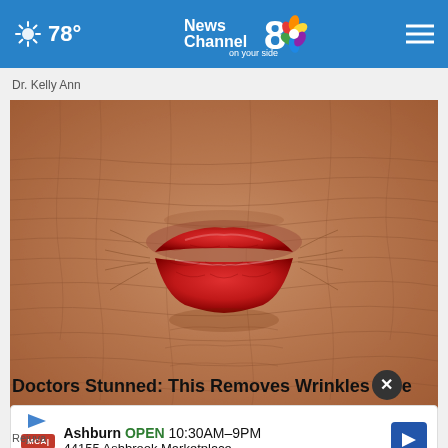78° News Channel 8 on your side
Dr. Kelly Ann
[Figure (photo): Close-up photo of heavily wrinkled elderly skin around lips with red lipstick]
Doctors Stunned: This Removes Wrinkles Like Crazy
Rejuva...
Ashburn OPEN 10:30AM–9PM 44155 Ashbrook Marketplace, ...